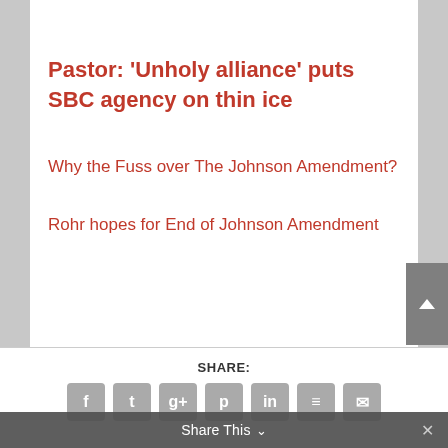Pastor: ‘Unholy alliance’ puts SBC agency on thin ice
Why the Fuss over The Johnson Amendment?
Rohr hopes for End of Johnson Amendment
SHARE:
Share This